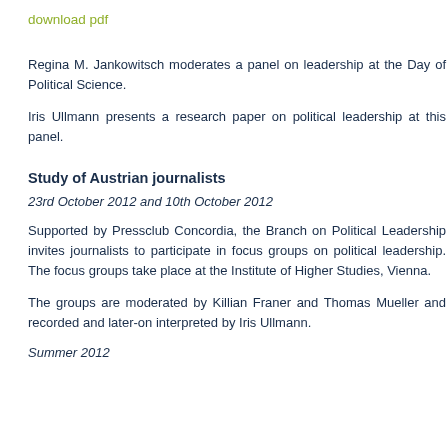download pdf
Regina M. Jankowitsch moderates a panel on leadership at the Day of Political Science.
Iris Ullmann presents a research paper on political leadership at this panel.
Study of Austrian journalists
23rd October 2012 and 10th October 2012
Supported by Pressclub Concordia, the Branch on Political Leadership invites journalists to participate in focus groups on political leadership. The focus groups take place at the Institute of Higher Studies, Vienna.
The groups are moderated by Killian Franer and Thomas Mueller and recorded and later-on interpreted by Iris Ullmann.
Summer 2012